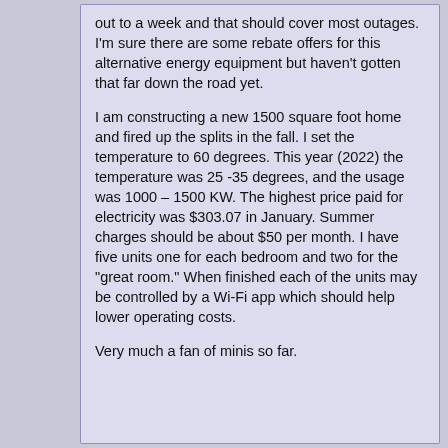out to a week and that should cover most outages. I'm sure there are some rebate offers for this alternative energy equipment but haven't gotten that far down the road yet.
I am constructing a new 1500 square foot home and fired up the splits in the fall. I set the temperature to 60 degrees. This year (2022) the temperature was 25 -35 degrees, and the usage was 1000 – 1500 KW. The highest price paid for electricity was $303.07 in January. Summer charges should be about $50 per month. I have five units one for each bedroom and two for the "great room." When finished each of the units may be controlled by a Wi-Fi app which should help lower operating costs.
Very much a fan of minis so far.